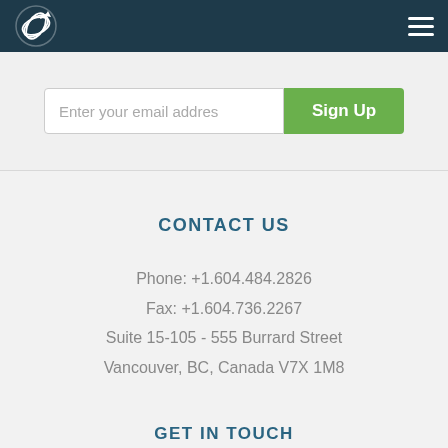Navigation header with logo and menu icon
Enter your email addres
Sign Up
CONTACT US
Phone: +1.604.484.2826
Fax: +1.604.736.2267
Suite 15-105 - 555 Burrard Street
Vancouver, BC, Canada V7X 1M8
GET IN TOUCH